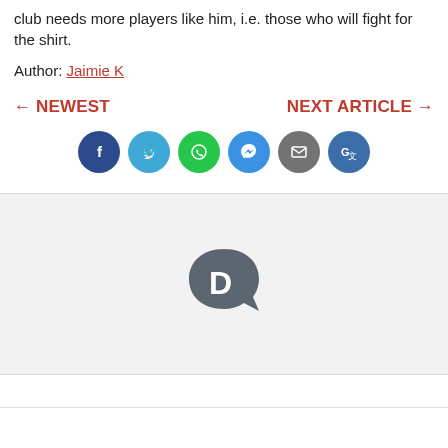club needs more players like him, i.e. those who will fight for the shirt.
Author: Jaimie K
← NEWEST    NEXT ARTICLE →
[Figure (infographic): Row of six social share buttons: Facebook (dark blue), Twitter (light blue), WhatsApp (green), Messenger (blue), Email (grey), Google Translate (blue/teal)]
[Figure (logo): Disqus logo: grey speech bubble with white letter D inside]